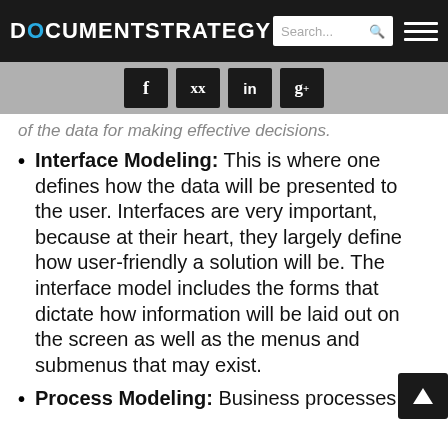DOCUMENT STRATEGY
[Figure (screenshot): Social media share buttons: Facebook (f), Twitter (bird), LinkedIn (in), Google+ (g+)]
of the data for making effective decisions.
Interface Modeling: This is where one defines how the data will be presented to the user. Interfaces are very important, because at their heart, they largely define how user-friendly a solution will be. The interface model includes the forms that dictate how information will be laid out on the screen as well as the menus and submenus that may exist.
Process Modeling: Business processes